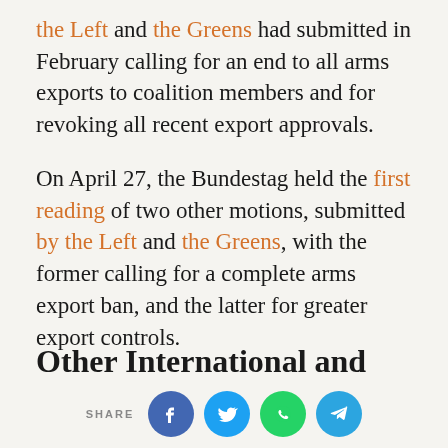the Left and the Greens had submitted in February calling for an end to all arms exports to coalition members and for revoking all recent export approvals.
On April 27, the Bundestag held the first reading of two other motions, submitted by the Left and the Greens, with the former calling for a complete arms export ban, and the latter for greater export controls.
Other International and